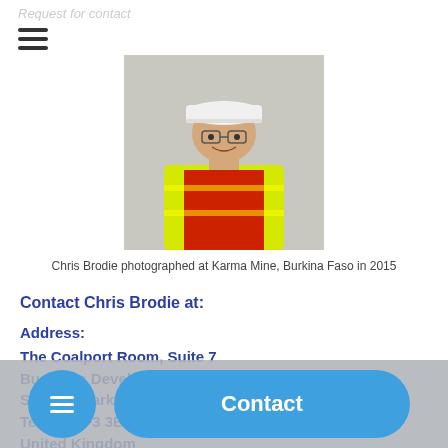Request for contact
[Figure (photo): Chris Brodie wearing a white hard hat and yellow high-visibility vest, photographed at Karma Mine, Burkina Faso in 2015]
Chris Brodie photographed at Karma Mine, Burkina Faso in 2015
Contact Chris Brodie at:
Address:
The Coalport Room, Suite 7
Business Development Centre
Stafford Park
Telford TF3 3BA
United Kingdom
UK Office: +44...
Contact